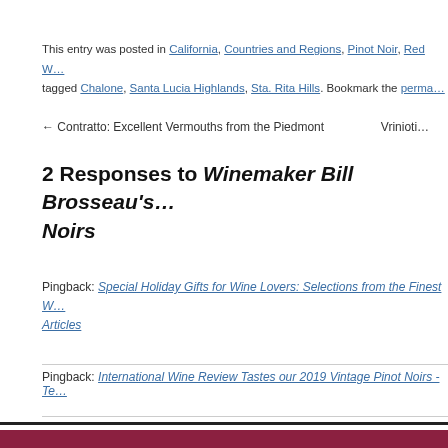This entry was posted in California, Countries and Regions, Pinot Noir, Red W… tagged Chalone, Santa Lucia Highlands, Sta. Rita Hills. Bookmark the perma…
← Contratto: Excellent Vermouths from the Piedmont    Vrinioti…
2 Responses to Winemaker Bill Brosseau's… Noirs
Pingback: Special Holiday Gifts for Wine Lovers: Selections from the Finest W… Articles
Pingback: International Wine Review Tastes our 2019 Vintage Pinot Noirs - Te…
i-WineReview Articles